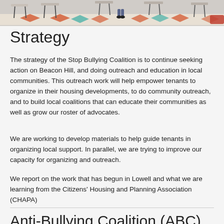[Figure (photo): Photograph of a room with chairs and a colorful patterned floor with orange and teal diamond shapes. A person is partially visible.]
Strategy
The strategy of the Stop Bullying Coalition is to continue seeking action on Beacon Hill, and doing outreach and education in local communities. This outreach work will help empower tenants to organize in their housing developments, to do community outreach, and to build local coalitions that can educate their communities as well as grow our roster of advocates.
We are working to develop materials to help guide tenants in organizing local support. In parallel, we are trying to improve our capacity for organizing and outreach.
We report on the work that has begun in Lowell and what we are learning from the Citizens' Housing and Planning Association (CHAPA)
Anti-Bullying Coalition (ABC) in